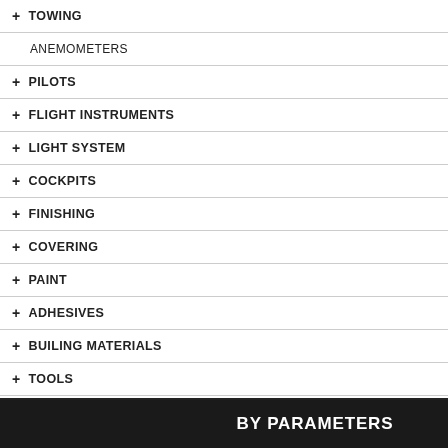+ TOWING
ANEMOMETERS
+ PILOTS
+ FLIGHT INSTRUMENTS
+ LIGHT SYSTEM
+ COCKPITS
+ FINISHING
+ COVERING
+ PAINT
+ ADHESIVES
+ BUILING MATERIALS
+ TOOLS
SCALES
+ COMPOSITE TECHNOLOGY
+ TEXTILE
TRANSPORT BOX
VIDEO
GIFTS
+ Jets Hardware
BY PARAMETERS
[Figure (photo): Small brown screw (partially visible at top)]
[Figure (photo): 2.6x10mm dark screw with wide flat head]
[Figure (photo): 3x15mm dark screw with wide flat head]
[Figure (photo): 4mm plastic washer, hard plastic, white/cream color]
[Figure (photo): ALU knurled thumb screw, silver aluminum]
wrench. servo me
2.6x10 Deep, no wrench, servo me
3x15mm Deep, no wrench, more! Te
4mm P Hard pla Interpose airframe
ALU KI Screw w made fr steel. Th